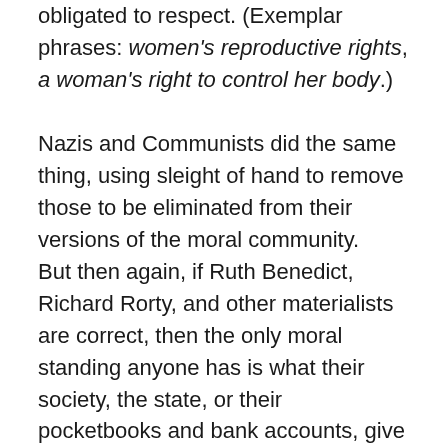obligated to respect. (Exemplar phrases: women's reproductive rights, a woman's right to control her body.)
Nazis and Communists did the same thing, using sleight of hand to remove those to be eliminated from their versions of the moral community.
But then again, if Ruth Benedict, Richard Rorty, and other materialists are correct, then the only moral standing anyone has is what their society, the state, or their pocketbooks and bank accounts, give them. What the state and social approval and the banks give, the state and social approval and the banks can take away, whether its targets are Jews, Gypsies, homosexuals under the Nazis; those who resisted collectivized farming under Stalin; or the unborn in our own culture.